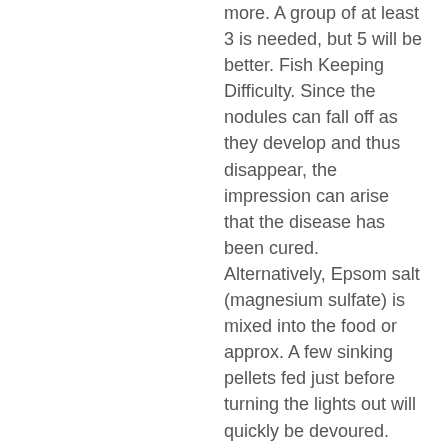more. A group of at least 3 is needed, but 5 will be better. Fish Keeping Difficulty. Since the nodules can fall off as they develop and thus disappear, the impression can arise that the disease has been cured. Alternatively, Epsom salt (magnesium sulfate) is mixed into the food or approx. A few sinking pellets fed just before turning the lights out will quickly be devoured. They are found in large schools in pools, streams, and rivers that are generally heavily vegetated and rocky with water that